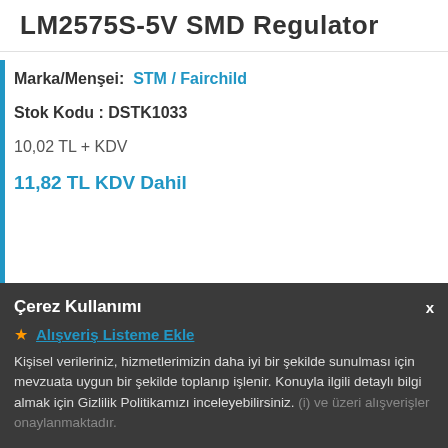LM2575S-5V SMD Regulator
Marka/Menşei: STM / Fairchild
Stok Kodu : DSTK1033
10,02 TL + KDV
11,82 TL KDV Dahil
- 1 +
Sepete Ekle
Çerez Kullanımı
Alışveriş Listeme Ekle
Kişisel verileriniz, hizmetlerimizin daha iyi bir şekilde sunulması için mevzuata uygun bir şekilde toplanıp işlenir. Konuyla ilgili detaylı bilgi almak için Gizlilik Politikamızı inceleyebilirsiniz.